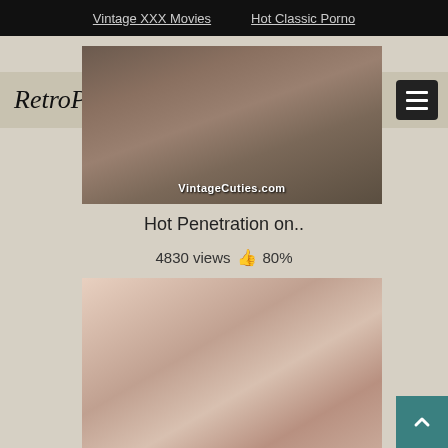Vintage XXX Movies | Hot Classic Porno
RetroPornXXX
[Figure (screenshot): Video thumbnail showing vintage adult content with VintageCuties.com watermark]
Hot Penetration on..
4830 views 👍 80%
[Figure (screenshot): Second video thumbnail showing vintage adult content with red fingernails visible]